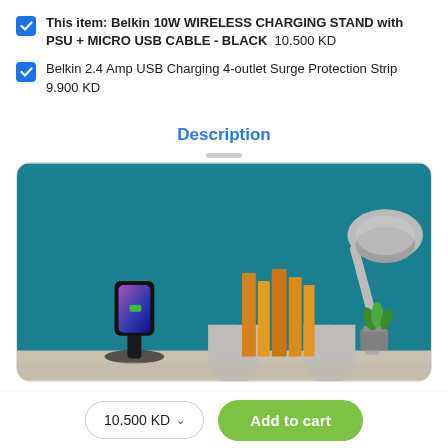This item: Belkin 10W WIRELESS CHARGING STAND with PSU + MICRO USB CABLE - BLACK  10.500 KD
Belkin 2.4 Amp USB Charging 4-outlet Surge Protection Strip  9.900 KD
Description
[Figure (photo): Product photo showing a Belkin wireless charging stand with a smartphone on it, surrounded by books with bookends, a desk lamp, and a small plant, on a teal background.]
10.500 KD  Add to cart